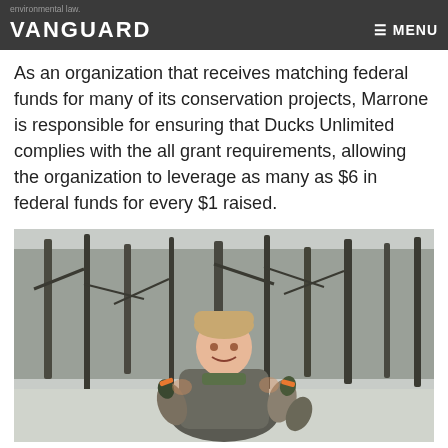environmental law. VANGUARD ☰ MENU
As an organization that receives matching federal funds for many of its conservation projects, Marrone is responsible for ensuring that Ducks Unlimited complies with the all grant requirements, allowing the organization to leverage as many as $6 in federal funds for every $1 raised.
[Figure (photo): A man wearing a winter hat and jacket smiling while holding multiple harvested ducks in a snowy wooded setting.]